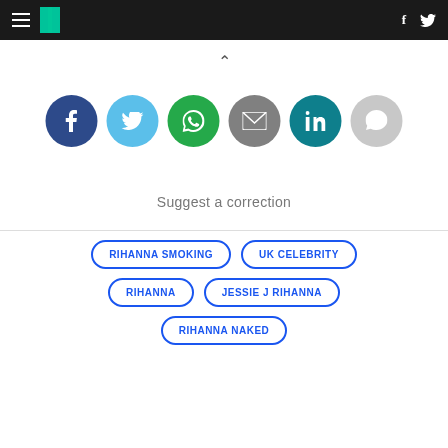HuffPost header with hamburger menu, logo, Facebook and Twitter icons
[Figure (infographic): Row of six social sharing circular icon buttons: Facebook (dark blue), Twitter (light blue), WhatsApp (green), Email (grey), LinkedIn (teal), Comment (light grey)]
Suggest a correction
RIHANNA SMOKING
UK CELEBRITY
RIHANNA
JESSIE J RIHANNA
RIHANNA NAKED